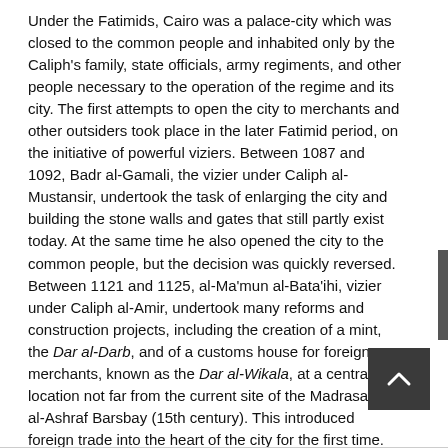Under the Fatimids, Cairo was a palace-city which was closed to the common people and inhabited only by the Caliph's family, state officials, army regiments, and other people necessary to the operation of the regime and its city. The first attempts to open the city to merchants and other outsiders took place in the later Fatimid period, on the initiative of powerful viziers. Between 1087 and 1092, Badr al-Gamali, the vizier under Caliph al-Mustansir, undertook the task of enlarging the city and building the stone walls and gates that still partly exist today. At the same time he also opened the city to the common people, but the decision was quickly reversed. Between 1121 and 1125, al-Ma'mun al-Bata'ihi, vizier under Caliph al-Amir, undertook many reforms and construction projects, including the creation of a mint, the Dar al-Darb, and of a customs house for foreign merchants, known as the Dar al-Wikala, at a central location not far from the current site of the Madrasa of al-Ashraf Barsbay (15th century). This introduced foreign trade into the heart of the city for the first time.